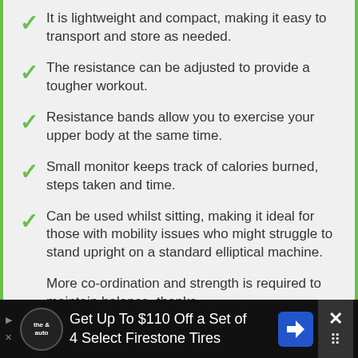It is lightweight and compact, making it easy to transport and store as needed.
The resistance can be adjusted to provide a tougher workout.
Resistance bands allow you to exercise your upper body at the same time.
Small monitor keeps track of calories burned, steps taken and time.
Can be used whilst sitting, making it ideal for those with mobility issues who might struggle to stand upright on a standard elliptical machine.
More co-ordination and strength is required to maintain balance, thanks
[Figure (screenshot): Advertisement banner: Get Up To $110 Off a Set of 4 Select Firestone Tires]